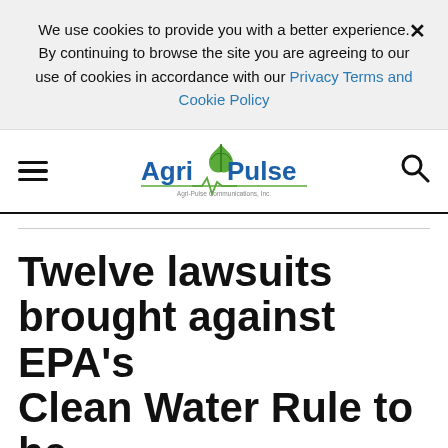We use cookies to provide you with a better experience. × By continuing to browse the site you are agreeing to our use of cookies in accordance with our Privacy Terms and Cookie Policy
[Figure (logo): Agri-Pulse logo with green leaf graphic and blue/green text reading 'AgriPulse', with tagline 'Agri-Pulse Communications, Inc.']
Twelve lawsuits brought against EPA's Clean Water Rule to be